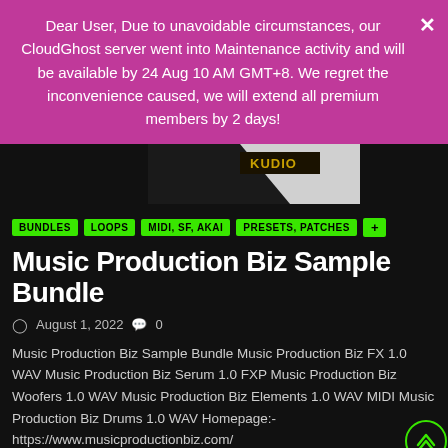Dear User, Due to unavoidable circumstances, our CloudGhost server went into Maintenance activity and will be available by 24 Aug 10 AM GMT+8. We regret the inconvenience caused, we will extend all premium members by 2 days!
[Figure (photo): Partial image of a product box with 'KUDIO' text visible at the top]
BUNDLES
LOOPS
MIDI, SF, AKAI
PRESETS, PATCHES
Music Production Biz Sample Bundle
August 1, 2022   0
Music Production Biz Sample Bundle Music Production Biz FX 1.0 WAV Music Production Biz Serum 1.0 FXP Music Production Biz Woofers 1.0 WAV Music Production Biz Elements 1.0 WAV MIDI Music Production Biz Drums 1.0 WAV Homepage:- https://www.musicproductionbiz.com/